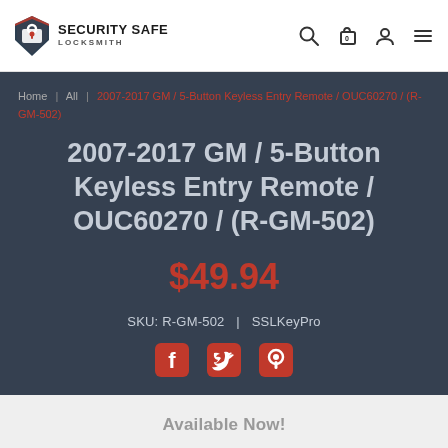Security Safe Locksmith
Home | All | 2007-2017 GM / 5-Button Keyless Entry Remote / OUC60270 / (R-GM-502)
2007-2017 GM / 5-Button Keyless Entry Remote / OUC60270 / (R-GM-502)
$49.94
SKU: R-GM-502 | SSLKeyPro
[Figure (other): Social sharing icons: Facebook, Twitter, Pinterest]
Available Now!